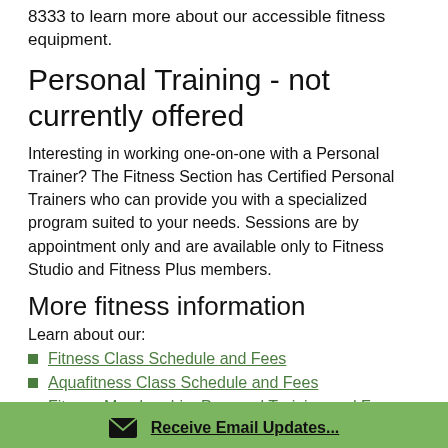8333 to learn more about our accessible fitness equipment.
Personal Training - not currently offered
Interesting in working one-on-one with a Personal Trainer? The Fitness Section has Certified Personal Trainers who can provide you with a specialized program suited to your needs. Sessions are by appointment only and are available only to Fitness Studio and Fitness Plus members.
More fitness information
Learn about our:
Fitness Class Schedule and Fees
Aquafitness Class Schedule and Fees
Fitness Membership, Personal Training and Fees
Receive Email Updates...